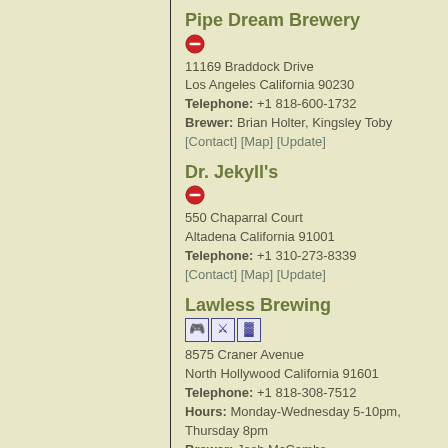Pipe Dream Brewery
11169 Braddock Drive
Los Angeles California 90230
Telephone: +1 818-600-1732
Brewer: Brian Holter, Kingsley Toby
[Contact] [Map] [Update]
Dr. Jekyll's
550 Chaparral Court
Altadena California 91001
Telephone: +1 310-273-8339
[Contact] [Map] [Update]
Lawless Brewing
8575 Craner Avenue
North Hollywood California 91601
Telephone: +1 818-308-7512
Hours: Monday-Wednesday 5-10pm, Thursday 8pm
Brewer: Josh McCombs
[Map] [Update]
Far Field Beer Co
4471 West Rosecrans Avenue